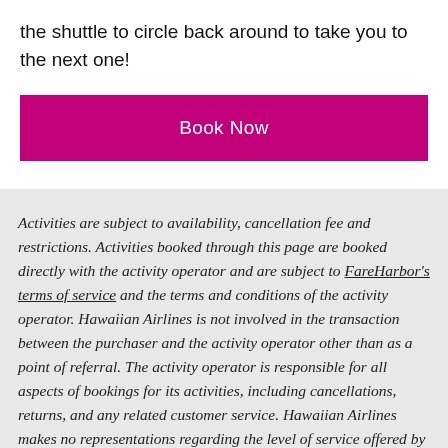the shuttle to circle back around to take you to the next one!
Book Now
Activities are subject to availability, cancellation fee and restrictions. Activities booked through this page are booked directly with the activity operator and are subject to FareHarbor's terms of service and the terms and conditions of the activity operator. Hawaiian Airlines is not involved in the transaction between the purchaser and the activity operator other than as a point of referral. The activity operator is responsible for all aspects of bookings for its activities, including cancellations, returns, and any related customer service. Hawaiian Airlines makes no representations regarding the level of service offered by an